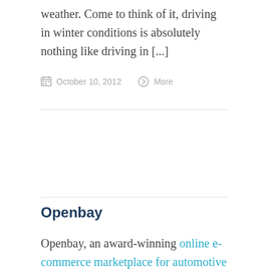weather. Come to think of it, driving in winter conditions is absolutely nothing like driving in [...]
October 10, 2012   More
Openbay
Openbay, an award-winning online e-commerce marketplace for automotive services, has become a provider of